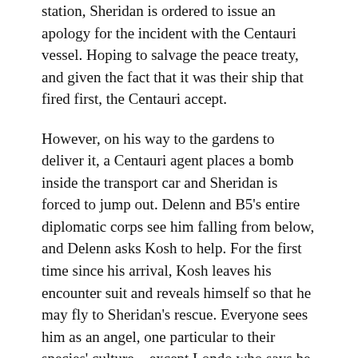station, Sheridan is ordered to issue an apology for the incident with the Centauri vessel. Hoping to salvage the peace treaty, and given the fact that it was their ship that fired first, the Centauri accept.
However, on his way to the gardens to deliver it, a Centauri agent places a bomb inside the transport car and Sheridan is forced to jump out. Delenn and B5's entire diplomatic corps see him falling from below, and Delenn asks Kosh to help. For the first time since his arrival, Kosh leaves his encounter suit and reveals himself so that he may fly to Sheridan's rescue. Everyone sees him as an angel, one particular to their species' culture – except Londo who says he saw nothing.
The episode ends with Ivanova narrating. With the peace treaty signed, the Centauri predictably